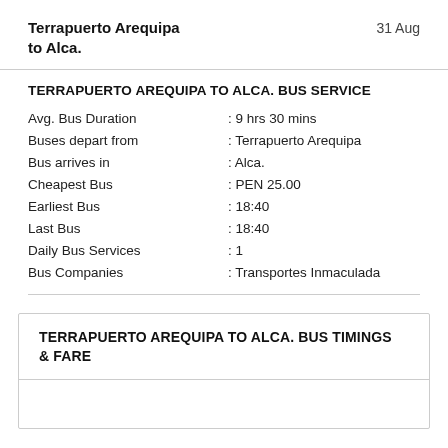Terrapuerto Arequipa to Alca.
31 Aug
TERRAPUERTO AREQUIPA TO ALCA. BUS SERVICE
|  |  |
| --- | --- |
| Avg. Bus Duration | : 9 hrs 30 mins |
| Buses depart from | : Terrapuerto Arequipa |
| Bus arrives in | : Alca. |
| Cheapest Bus | : PEN 25.00 |
| Earliest Bus | : 18:40 |
| Last Bus | : 18:40 |
| Daily Bus Services | : 1 |
| Bus Companies | : Transportes Inmaculada |
TERRAPUERTO AREQUIPA TO ALCA. BUS TIMINGS & FARE